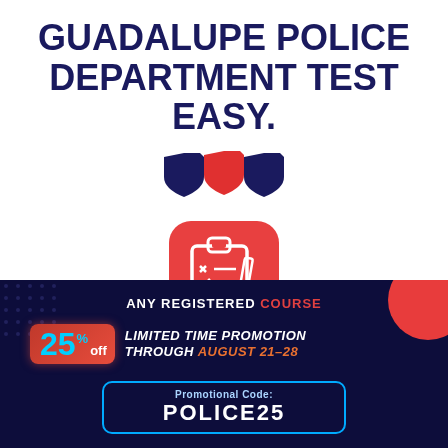GUADALUPE POLICE DEPARTMENT TEST EASY.
[Figure (illustration): Three shield badge icons: dark navy left, red center, dark navy right]
[Figure (illustration): Red rounded-square app icon with white clipboard and checklist with pen]
MASTER THE ORAL BOARD!
ANY REGISTERED COURSE
25% off LIMITED TIME PROMOTION THROUGH AUGUST 21-28
Promotional Code: POLICE25